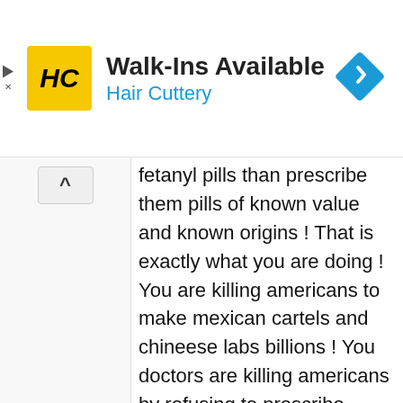[Figure (other): Hair Cuttery advertisement banner with logo, 'Walk-Ins Available' headline, and navigation arrow icon]
fetanyl pills than prescribe them pills of known value and known origins ! That is exactly what you are doing ! You are killing americans to make mexican cartels and chineese labs billions ! You doctors are killing americans by refusing to prescribe opioids and the fda and dea are killing even more by waging war they will never win ! Legalize it all or face 90% of the USA dying from fetanyl ! That is in fact what will happen because at some point in a person's life if they work a job which entails any real work they will at one point get injured its inevitable you